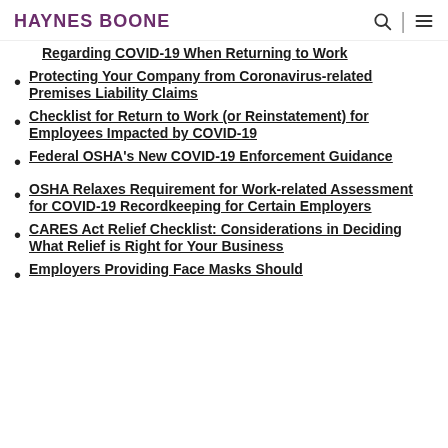HAYNES BOONE
Regarding COVID-19 When Returning to Work
Protecting Your Company from Coronavirus-related Premises Liability Claims
Checklist for Return to Work (or Reinstatement) for Employees Impacted by COVID-19
Federal OSHA's New COVID-19 Enforcement Guidance
OSHA Relaxes Requirement for Work-related Assessment for COVID-19 Recordkeeping for Certain Employers
CARES Act Relief Checklist: Considerations in Deciding What Relief is Right for Your Business
Employers Providing Face Masks Should